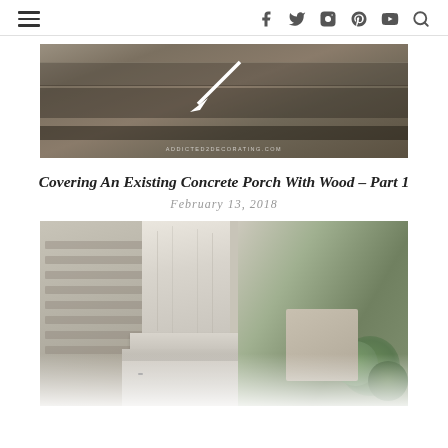Navigation header with hamburger menu and social icons: Facebook, Twitter, Instagram, Pinterest, YouTube, Search
[Figure (photo): Close-up photo of a concrete porch edge with a white arrow pointing to a gap or crack. Watermark reads ADDICTED2DECORATING.COM]
Covering An Existing Concrete Porch With Wood – Part 1
February 13, 2018
[Figure (photo): Photo of a white painted wood porch column with decorative base trim, showing the junction between the column and concrete porch surface, with green shrubbery visible in the background]